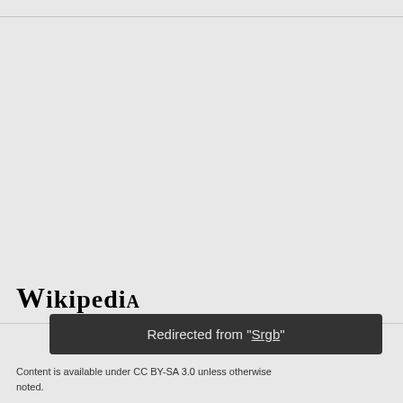[Figure (logo): Wikipedia logo wordmark in serif bold font]
Redirected from "Srgb"
Content is available under CC BY-SA 3.0 unless otherwise noted.